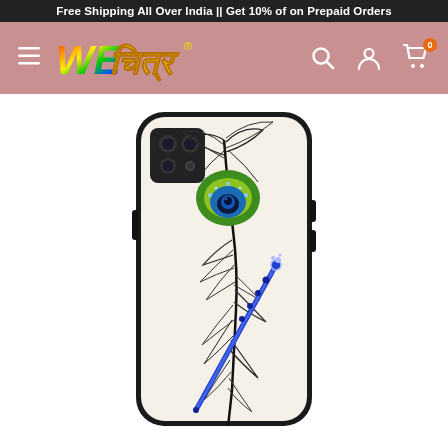Free Shipping All Over India || Get 10% of on Prepaid Orders
[Figure (logo): WeChitra brand logo with colorful stylized text in Hindi/Devanagari script]
[Figure (photo): Phone back case with peacock feather and flute artistic design on white/cream background, black rounded edges, camera cutout visible at top left]